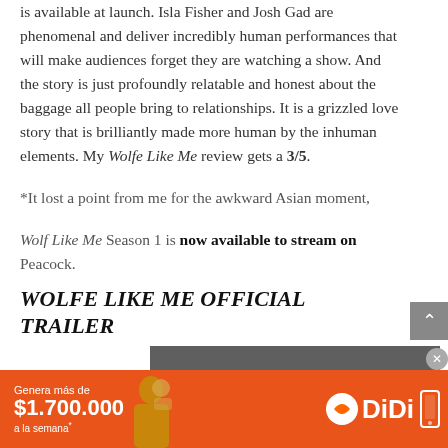is available at launch. Isla Fisher and Josh Gad are phenomenal and deliver incredibly human performances that will make audiences forget they are watching a show. And the story is just profoundly relatable and honest about the baggage all people bring to relationships. It is a grizzled love story that is brilliantly made more human by the inhuman elements. My Wolfe Like Me review gets a 3/5.
*It lost a point from me for the awkward Asian moment,
Wolf Like Me Season 1 is now available to stream on Peacock.
WOLFE LIKE ME OFFICIAL TRAILER
[Figure (screenshot): Video player overlay showing 'No compatible source was found for this media.']
[Figure (illustration): DiDi advertisement banner: 'Genera más de $1.700.000 a la semana*' with DiDi logo and phone graphic on orange background.]